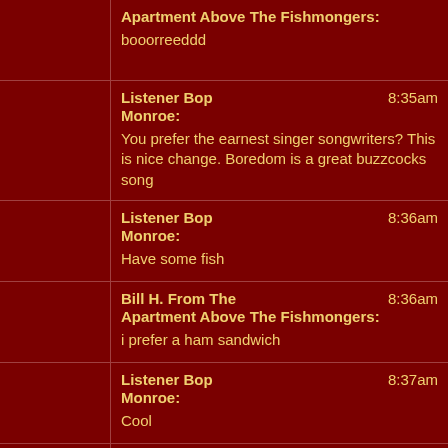Apartment Above The Fishmongers: booorreeddd
Listener Bop Monroe: You prefer the earnest singer songwriters? This is nice change. Boredom is a great buzzcocks song | 8:35am
Listener Bop Monroe: Have some fish | 8:36am
Bill H. From The Apartment Above The Fishmongers: i prefer a ham sandwich | 8:36am
Listener Bop Monroe: Cool | 8:37am
twinoak170: Clay Pigeon can really scat. | 8:39am
Listener Bop Monroe: Skiddly op op | 8:41am